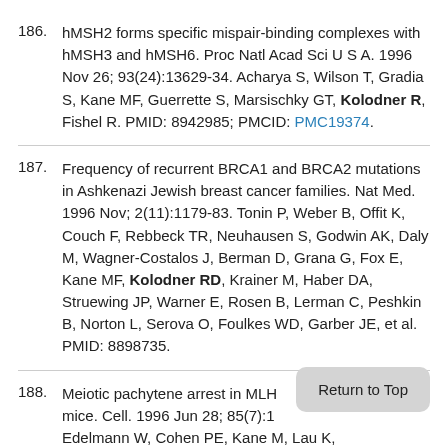186. hMSH2 forms specific mispair-binding complexes with hMSH3 and hMSH6. Proc Natl Acad Sci U S A. 1996 Nov 26; 93(24):13629-34. Acharya S, Wilson T, Gradia S, Kane MF, Guerrette S, Marsischky GT, Kolodner R, Fishel R. PMID: 8942985; PMCID: PMC19374.
187. Frequency of recurrent BRCA1 and BRCA2 mutations in Ashkenazi Jewish breast cancer families. Nat Med. 1996 Nov; 2(11):1179-83. Tonin P, Weber B, Offit K, Couch F, Rebbeck TR, Neuhausen S, Godwin AK, Daly M, Wagner-Costalos J, Berman D, Grana G, Fox E, Kane MF, Kolodner RD, Krainer M, Haber DA, Struewing JP, Warner E, Rosen B, Lerman C, Peshkin B, Norton L, Serova O, Foulkes WD, Garber JE, et al. PMID: 8898735.
188. Meiotic pachytene arrest in MLH... mice. Cell. 1996 Jun 28; 85(7):1... Edelmann W, Cohen PE, Kane M, Lau K,